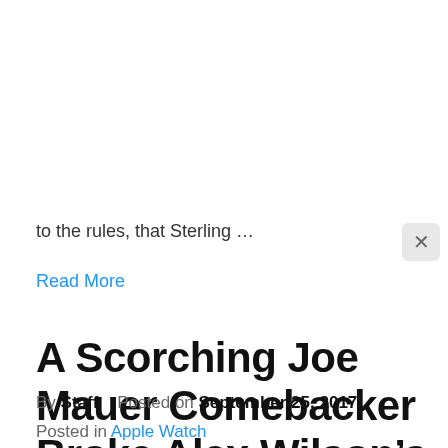to the rules, that Sterling …
Read More
A Scorching Joe Mauer Comebacker Broke Alex Wilson's Leg
By Staff   Posted on September 25, 2017
Posted in Apple Watch